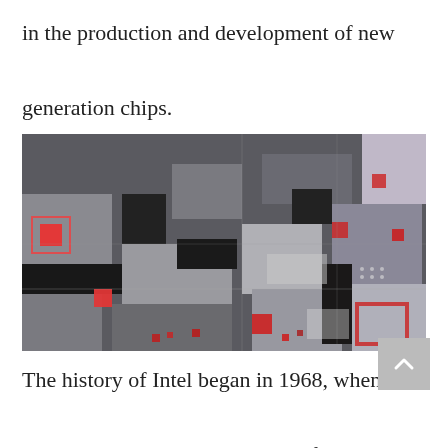in the production and development of new generation chips.
[Figure (photo): Close-up aerial view of a computer circuit board with red-glowing electronic components, chips, and interconnected circuits on a dark and grey background.]
The history of Intel began in 1968, when NM Electronics was incorporated by former employees of Fairchild Semiconductor. After a while it acquired its current name, the main product was the development of semiconductor memory. In 1971, the company made a deal to